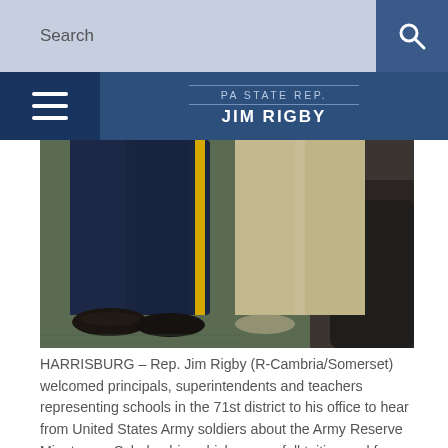Search
PA STATE REP. JIM RIGBY
[Figure (photo): Close-up photo of two people's lower bodies standing on a green carpet: one person wearing dark navy military uniform trousers with a yellow stripe, the other wearing khaki/beige trousers. A dark bag or chair is visible in the background.]
HARRISBURG – Rep. Jim Rigby (R-Cambria/Somerset) welcomed principals, superintendents and teachers representing schools in the 71st district to his office to hear from United States Army soldiers about the Army Reserve Minuteman Scholarship, which covers full tuition and fees or $10,000 per year toward room and board at any college or university served by an Army (ROTC) program.